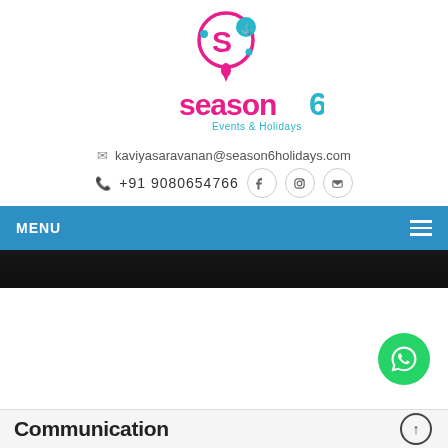[Figure (logo): Season6 Events & Holidays logo with stylized S6 icon in pink and teal, and text 'season6' in pink with 'Events & Holidays' subtitle in teal]
kaviyasaravanan@season6holidays.com
+91 9080654766
MENU
[Figure (photo): Dark hero banner image strip]
[Figure (illustration): WhatsApp green floating action button]
Communication